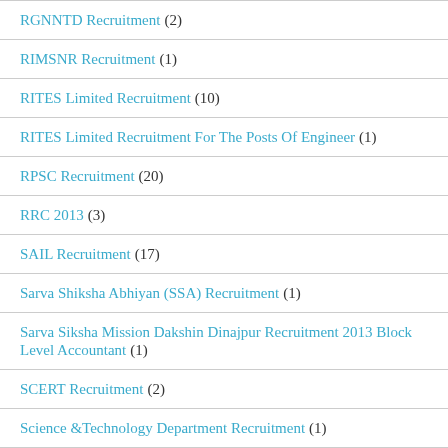RGNNTD Recruitment (2)
RIMSNR Recruitment (1)
RITES Limited Recruitment (10)
RITES Limited Recruitment For The Posts Of Engineer (1)
RPSC Recruitment (20)
RRC 2013 (3)
SAIL Recruitment (17)
Sarva Shiksha Abhiyan (SSA) Recruitment (1)
Sarva Siksha Mission Dakshin Dinajpur Recruitment 2013 Block Level Accountant (1)
SCERT Recruitment (2)
Science &Technology Department Recruitment (1)
SCTIMST Recruitment (1)